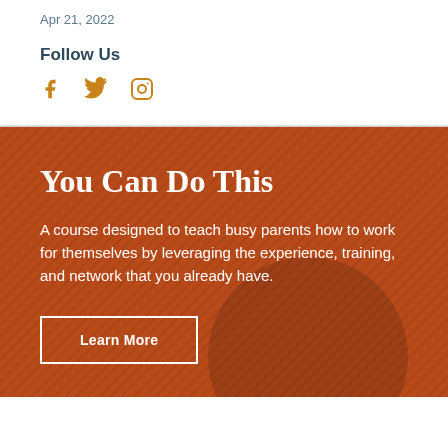Apr 21, 2022
Follow Us
[Figure (other): Social media icons: Facebook (f), Twitter (bird), Instagram (camera outline) in golden/amber color]
You Can Do This
A course designed to teach busy parents how to work for themselves by leveraging the experience, training, and network that you already have.
Learn More